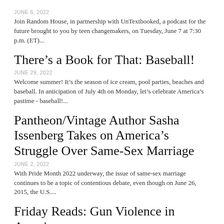JUNE 6, 2022
Join Random House, in partnership with UnTextbooked, a podcast for the future brought to you by teen changemakers, on Tuesday, June 7 at 7:30 p.m. (ET)...
There’s a Book for That: Baseball!
JUNE 29, 2022
Welcome summer! It’s the season of ice cream, pool parties, beaches and baseball. In anticipation of July 4th on Monday, let’s celebrate America’s pastime - baseball!...
Pantheon/Vintage Author Sasha Issenberg Takes on America’s Struggle Over Same-Sex Marriage
JUNE 2, 2022
With Pride Month 2022 underway, the issue of same-sex marriage continues to be a topic of contentious debate, even though on June 26, 2015, the U.S....
Friday Reads: Gun Violence in America